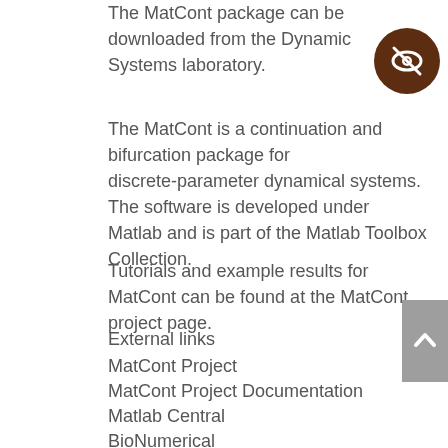The MatCont package can be downloaded from the Dynamic Systems laboratory.
[Figure (other): Brown circle icon with a crossed-out eye symbol indicating hidden/private content]
The MatCont is a continuation and bifurcation package for discrete-parameter dynamical systems. The software is developed under Matlab and is part of the Matlab Toolbox Collection.
Tutorials and example results for MatCont can be found at the MatCont project page.
External links
MatCont Project
MatCont Project Documentation
Matlab Central
BioNumerical
Category:Numerical software
Category:Mathematical software